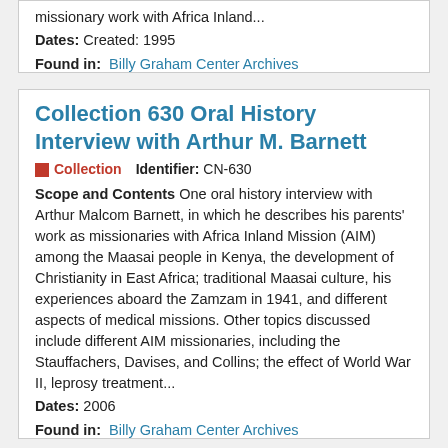missionary work with Africa Inland...
Dates: Created: 1995
Found in: Billy Graham Center Archives
Collection 630 Oral History Interview with Arthur M. Barnett
Collection   Identifier: CN-630
Scope and Contents One oral history interview with Arthur Malcom Barnett, in which he describes his parents' work as missionaries with Africa Inland Mission (AIM) among the Maasai people in Kenya, the development of Christianity in East Africa; traditional Maasai culture, his experiences aboard the Zamzam in 1941, and different aspects of medical missions. Other topics discussed include different AIM missionaries, including the Stauffachers, Davises, and Collins; the effect of World War II, leprosy treatment...
Dates: 2006
Found in: Billy Graham Center Archives